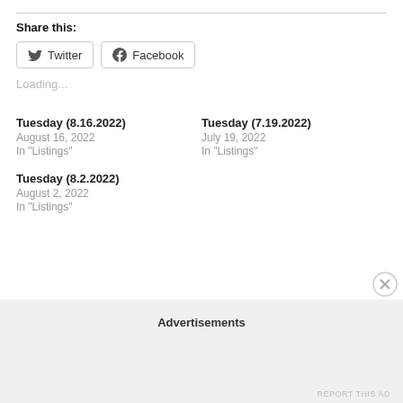Share this:
Twitter  Facebook
Loading...
Tuesday (8.16.2022)
August 16, 2022
In "Listings"
Tuesday (7.19.2022)
July 19, 2022
In "Listings"
Tuesday (8.2.2022)
August 2, 2022
In "Listings"
Advertisements
REPORT THIS AD